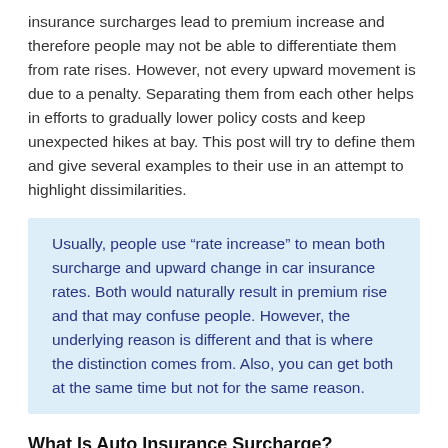insurance surcharges lead to premium increase and therefore people may not be able to differentiate them from rate rises. However, not every upward movement is due to a penalty. Separating them from each other helps in efforts to gradually lower policy costs and keep unexpected hikes at bay. This post will try to define them and give several examples to their use in an attempt to highlight dissimilarities.
Usually, people use “rate increase” to mean both surcharge and upward change in car insurance rates. Both would naturally result in premium rise and that may confuse people. However, the underlying reason is different and that is where the distinction comes from. Also, you can get both at the same time but not for the same reason.
What Is Auto Insurance Surcharge?
It is an additional charge applied to premiums usually for